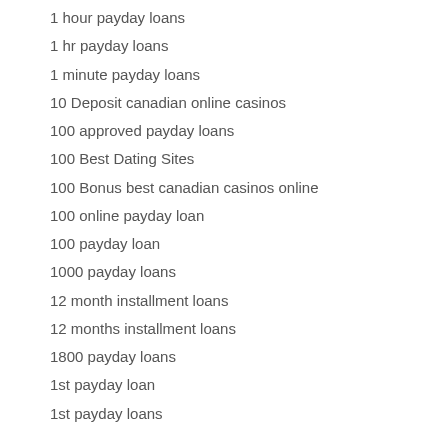1 hour payday loans
1 hr payday loans
1 minute payday loans
10 Deposit canadian online casinos
100 approved payday loans
100 Best Dating Sites
100 Bonus best canadian casinos online
100 online payday loan
100 payday loan
1000 payday loans
12 month installment loans
12 months installment loans
1800 payday loans
1st payday loan
1st payday loans